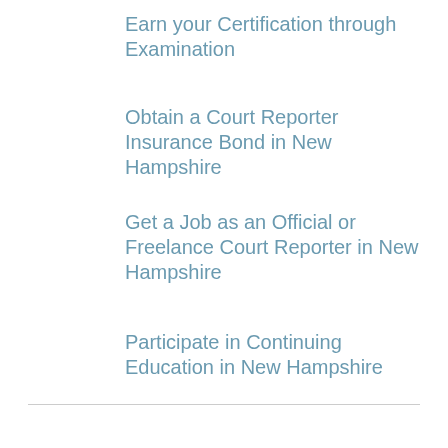Earn your Certification through Examination
Obtain a Court Reporter Insurance Bond in New Hampshire
Get a Job as an Official or Freelance Court Reporter in New Hampshire
Participate in Continuing Education in New Hampshire